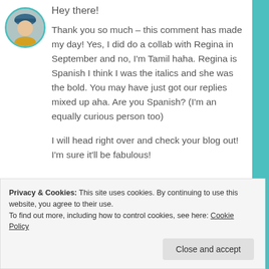[Figure (photo): Circular avatar photo of a person wearing a yellow outfit and blue hat]
Hey there!
Thank you so much – this comment has made my day! Yes, I did do a collab with Regina in September and no, I'm Tamil haha. Regina is Spanish I think I was the italics and she was the bold. You may have just got our replies mixed up aha. Are you Spanish? (I'm an equally curious person too)
I will head right over and check your blog out! I'm sure it'll be fabulous!
Privacy & Cookies: This site uses cookies. By continuing to use this website, you agree to their use. To find out more, including how to control cookies, see here: Cookie Policy
Close and accept